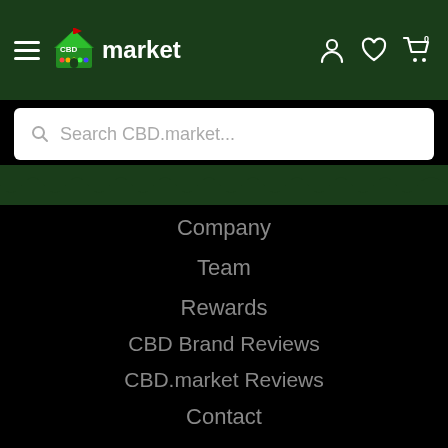CBD market — navigation header with hamburger menu, logo, user icon, wishlist icon, cart icon (0)
Search CBD.market...
Company
Team
Rewards
CBD Brand Reviews
CBD.market Reviews
Contact
[Figure (logo): Payment method icons: Visa, Mastercard, American Express, Discover, Diners Club, JCB]
[Figure (logo): Norton Secured VERIFY badge with checkmark and gold shield]